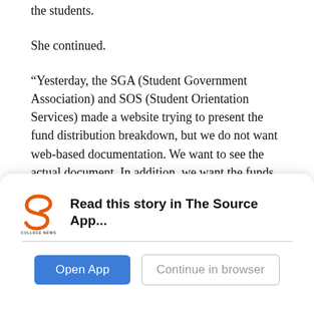the students.
She continued.
“Yesterday, the SGA (Student Government Association) and SOS (Student Orientation Services) made a website trying to present the fund distribution breakdown, but we do not want web-based documentation. We want to see the actual document. In addition, we want the funds to be disbursed to aid in poor living conditions here on campus. We have mold, no heat or air, showers and ceilings leaking and two people placed in the group chat today said that they found rodents in Towers (C.J. Tower). Also, college
[Figure (logo): College News Source logo — a stylized 'S' graphic above text reading COLLEGE NEWS SOURCE]
Read this story in The Source App...
Open App    Continue in browser